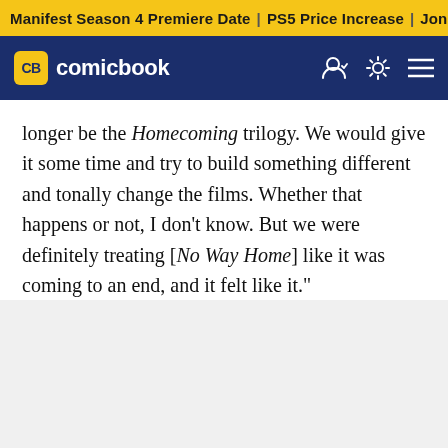Manifest Season 4 Premiere Date | PS5 Price Increase | Jon M
CB comicbook
longer be the Homecoming trilogy. We would give it some time and try to build something different and tonally change the films. Whether that happens or not, I don't know. But we were definitely treating [No Way Home] like it was coming to an end, and it felt like it."